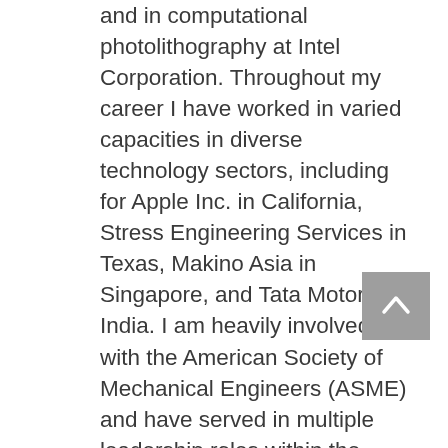and in computational photolithography at Intel Corporation. Throughout my career I have worked in varied capacities in diverse technology sectors, including for Apple Inc. in California, Stress Engineering Services in Texas, Makino Asia in Singapore, and Tata Motors in India. I am heavily involved with the American Society of Mechanical Engineers (ASME) and have served in multiple leadership roles within the heat transfer community, including as Technical Program Chair for the American Society of Mechanical Engineer's 2020 Summer Heat Transfer Conference, and team lead within the Student & Early Career Development Council in ASME. I also serve on the CTO Technology Advisory Council of the Society for the Advancement of Material